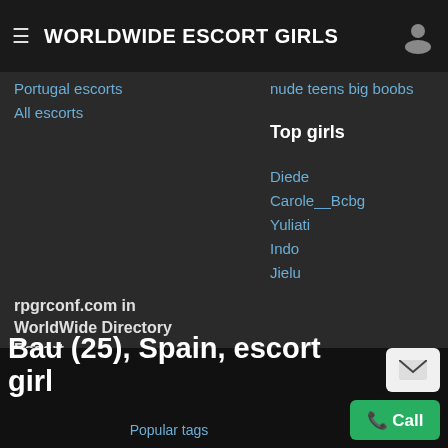WORLDWIDE ESCORT GIRLS
Portugal escorts
All escorts
nude teens big boobs
Top girls
Diede
Carole__Bcbg
Yuliati
Indo
Jielu
rpgrconf.com in WorldWide Directory Escort
South Africa
Monaco
Bahrain
Germany
Bau (25), Spain, escort girl
Popular tags